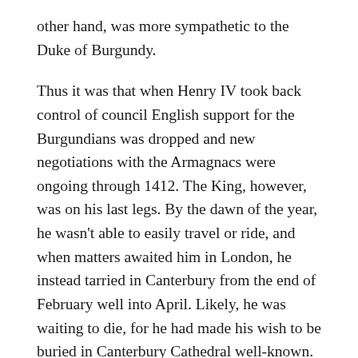other hand, was more sympathetic to the Duke of Burgundy.
Thus it was that when Henry IV took back control of council English support for the Burgundians was dropped and new negotiations with the Armagnacs were ongoing through 1412. The King, however, was on his last legs. By the dawn of the year, he wasn't able to easily travel or ride, and when matters awaited him in London, he instead tarried in Canterbury from the end of February well into April. Likely, he was waiting to die, for he had made his wish to be buried in Canterbury Cathedral well-known.
Instead, he lived and made his way to Westminster